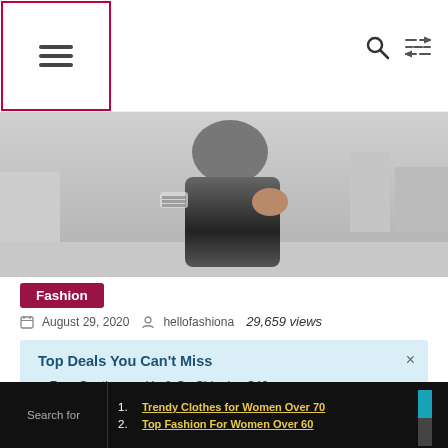☰  🔍  ⇌
[Figure (photo): Hero image of a woman in black top and striped sleeves outdoors]
Fashion
August 29, 2020  hellofashiona  29,659 views
Top Deals You Can't Miss
Free Contiguous Us & Ca Shipping $40+
Sweet Easter Deals: Up to 50% Off
Extra 10% Off Your Order
Search for
1. Trendy Clothes for Women Over 70
2. Top Fashion For Women Over 60